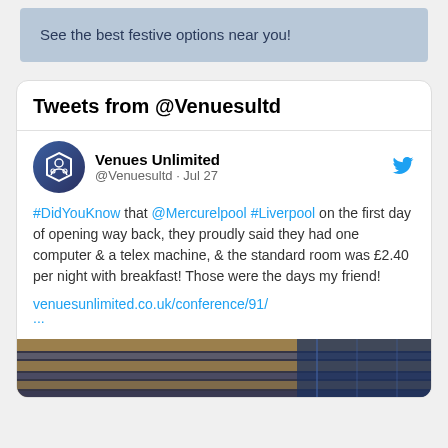See the best festive options near you!
Tweets from @Venuesultd
Venues Unlimited @Venuesultd · Jul 27
#DidYouKnow that @Mercurelpool #Liverpool on the first day of opening way back, they proudly said they had one computer & a telex machine, & the standard room was £2.40 per night with breakfast! Those were the days my friend! venuesunlimited.co.uk/conference/91/ ...
[Figure (photo): Partial view of a building or architectural detail with striped patterns and lighting]